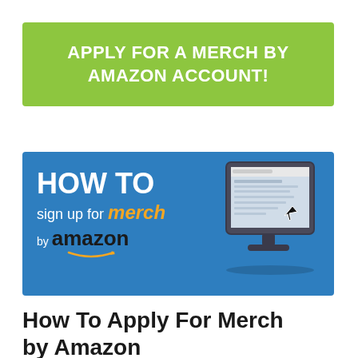[Figure (infographic): Green banner with white bold uppercase text reading: APPLY FOR A MERCH BY AMAZON ACCOUNT!]
[Figure (infographic): Blue banner with 'HOW TO sign up for merch by amazon' text and a monitor/computer screen illustration on the right side showing a website screenshot with a cursor arrow.]
How To Apply For Merch by Amazon